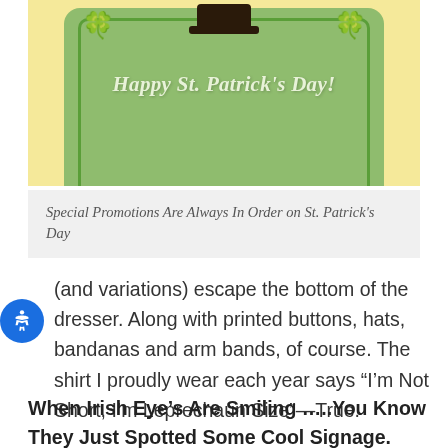[Figure (illustration): St. Patrick's Day greeting card illustration with green background, shamrocks, and text 'Happy St. Patrick's Day!' in italic script, with a figure wearing a top hat at the top center.]
Special Promotions Are Always In Order on St. Patrick's Day
(and variations) escape the bottom of the dresser. Along with printed buttons, hats, bandanas and arm bands, of course. The shirt I proudly wear each year says “I’m Not Short, I’m Leprechaun Size”—True.
When Irish Eye’s Are Smiling …..You Know They Just Spotted Some Cool Signage.